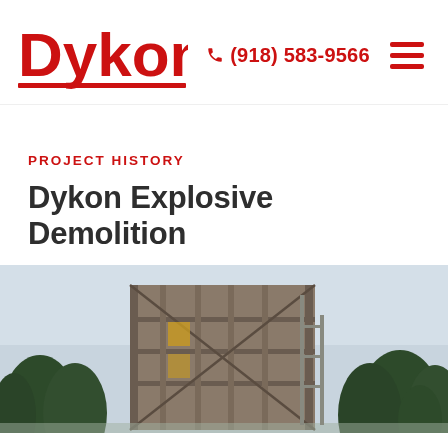Dykon | (918) 583-9566
PROJECT HISTORY
Dykon Explosive Demolition
[Figure (photo): A multi-story building structure undergoing demolition, with exposed concrete and steel framework visible against a light sky, surrounded by tall evergreen trees in the background.]